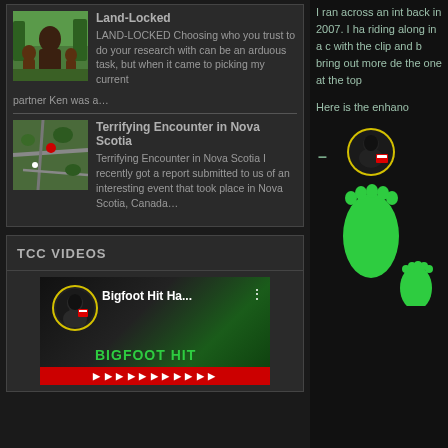Land-Locked
LAND-LOCKED Choosing who you trust to do your research with can be an arduous task, but when it came to picking my current partner Ken was a…
Terrifying Encounter in Nova Scotia
Terrifying Encounter in Nova Scotia  I recently got a report submitted to us of an interesting event that took place in Nova Scotia, Canada…
TCC VIDEOS
[Figure (screenshot): Video thumbnail showing 'Bigfoot Hit Ha...' with avatar circle, green Bigfoot Hit text on dark background]
I ran across an int back in 2007. I ha riding along in a c with the clip and b bring out more de the one at the top
Here is the enhano
[Figure (illustration): Right side panel showing avatar circle with person image and green bigfoot footprint illustrations on black background]